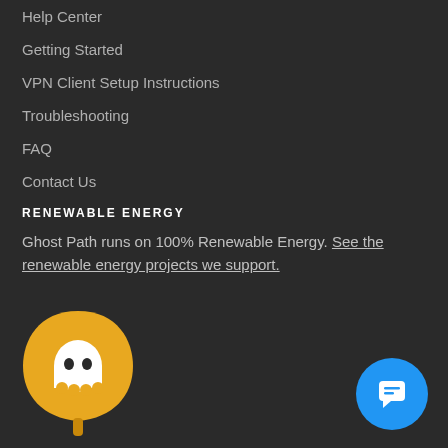Help Center
Getting Started
VPN Client Setup Instructions
Troubleshooting
FAQ
Contact Us
RENEWABLE ENERGY
Ghost Path runs on 100% Renewable Energy. See the renewable energy projects we support.
[Figure (logo): Ghost Path logo: golden/yellow leaf shape with a white ghost icon inside, and a stem below]
[Figure (other): Blue circular chat/support button with white chat bubble icon]